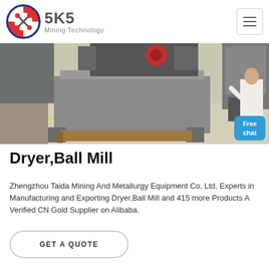SKS Mining Technology
[Figure (photo): Industrial mining equipment on a factory floor, with heavy machinery visible. A person in white clothing stands on the right side.]
Dryer,Ball Mill
Zhengzhou Taida Mining And Metallurgy Equipment Co, Ltd, Experts in Manufacturing and Exporting Dryer,Ball Mill and 415 more Products A Verified CN Gold Supplier on Alibaba.
GET A QUOTE